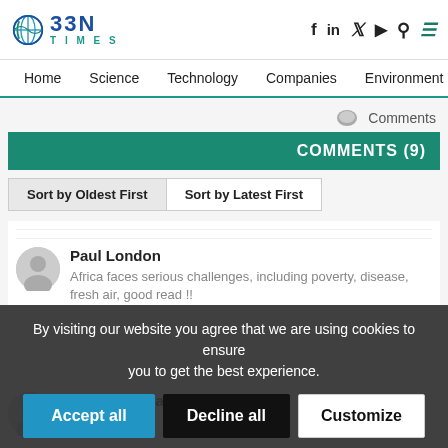BBN TIMES
Home  Science  Technology  Companies  Environment
Comments
COMMENTS (9)
Sort by Oldest First  Sort by Latest First
Paul London
Africa faces serious challenges, including poverty, disease, fresh air, good read !!
By visiting our website you agree that we are using cookies to ensure you to get the best experience.
Accept all  Decline all  Customize
Alabama Silva
m is widely re